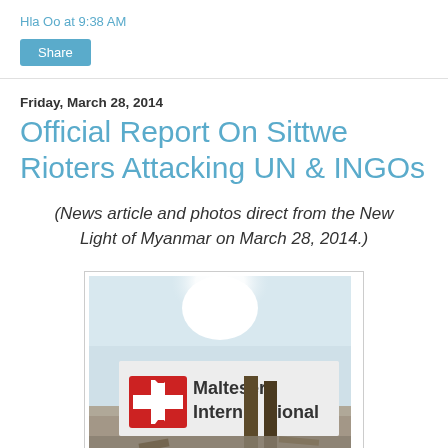Hla Oo at 9:38 AM
Share
Friday, March 28, 2014
Official Report On Sittwe Rioters Attacking UN & INGOs
(News article and photos direct from the New Light of Myanmar on March 28, 2014.)
[Figure (photo): Photo of a Malteser International sign/banner outdoors with bright sky in background]